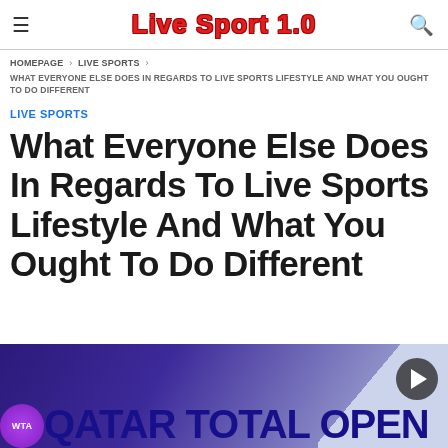Live Sport 1.0
HOMEPAGE › LIVE SPORTS › WHAT EVERYONE ELSE DOES IN REGARDS TO LIVE SPORTS LIFESTYLE AND WHAT YOU OUGHT TO DO DIFFERENT
LIVE SPORTS
What Everyone Else Does In Regards To Live Sports Lifestyle And What You Ought To Do Different
[Figure (photo): WTA Qatar Total Open banner/logo with purple and light background, play button overlay]